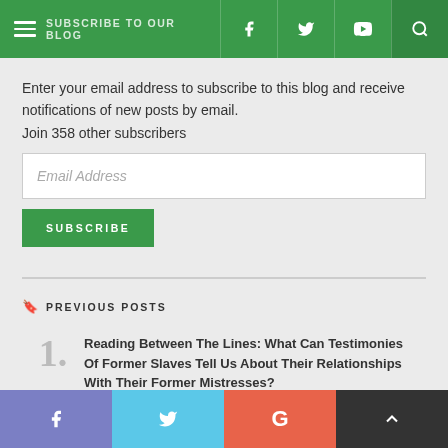SUBSCRIBE TO OUR BLOG
Enter your email address to subscribe to this blog and receive notifications of new posts by email.
Join 358 other subscribers
Email Address
SUBSCRIBE
PREVIOUS POSTS
Reading Between The Lines: What Can Testimonies Of Former Slaves Tell Us About Their Relationships With Their Former Mistresses?
f  t  G  ↑